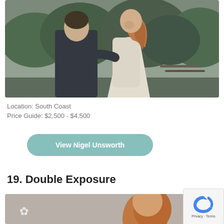[Figure (photo): Wedding couple outdoors in misty green setting — man in dark suit facing woman in white lace dress with auburn hair, green trees in background]
Location: South Coast
Price Guide: $2,500 - $4,500
View Nigel Unsworth
19. Double Exposure
[Figure (photo): Partial view of a second listing photo — person with auburn/red hair visible, appears to be a wedding or portrait photo, partially cut off at bottom of page]